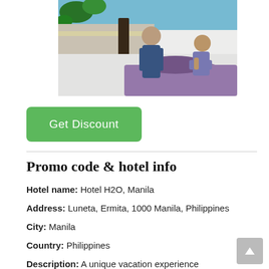[Figure (photo): Photo of people on a bed with a purple blanket/pillow, outdoor hotel setting with greenery in background]
Get Discount
Promo code & hotel info
Hotel name: Hotel H2O, Manila
Address: Luneta, Ermita, 1000 Manila, Philippines
City: Manila
Country: Philippines
Description: A unique vacation experience awaits at Hotel H2O, an aquarium-themed hotel overlooking the